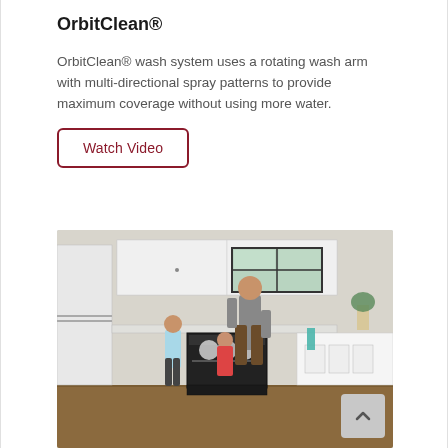OrbitClean®
OrbitClean® wash system uses a rotating wash arm with multi-directional spray patterns to provide maximum coverage without using more water.
Watch Video
[Figure (photo): Family scene in a kitchen with a man and two children loading a dishwasher. White kitchen cabinets, black-framed window, refrigerator on the left.]